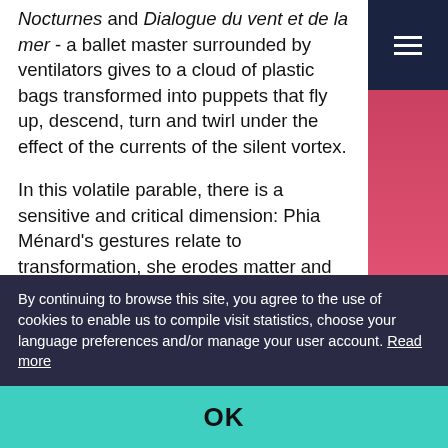Nocturnes and Dialogue du vent et de la mer - a ballet master surrounded by ventilators gives to a cloud of plastic bags transformed into puppets that fly up, descend, turn and twirl under the effect of the currents of the silent vortex.
In this volatile parable, there is a sensitive and critical dimension: Phia Ménard's gestures relate to transformation, she erodes matter and individuals; each new gesture creates radiant, dancing worlds, where the human and the non-human are one. Something interlinks them.
[Figure (photo): Right-side vertical photo strip showing pink/red colored image, partially visible on the right edge of the page.]
By continuing to browse this site, you agree to the use of cookies to enable us to compile visit statistics, choose your language preferences and/or manage your user account. Read more
OK